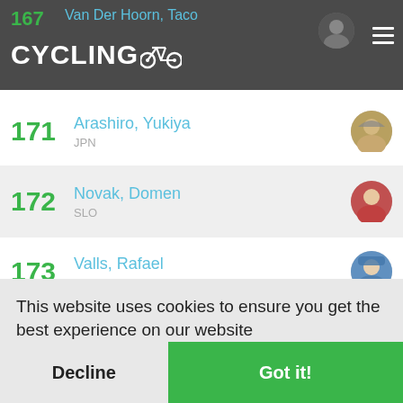167 Van Der Hoorn, Taco — CYCLINGOO
171 Arashiro, Yukiya — JPN
172 Novak, Domen — SLO
173 Valls, Rafael — ESP
17_ (partially visible)
17_ (partially visible)
17_ SLO (partially visible)
This website uses cookies to ensure you get the best experience on our website
More info
Decline | Got it!